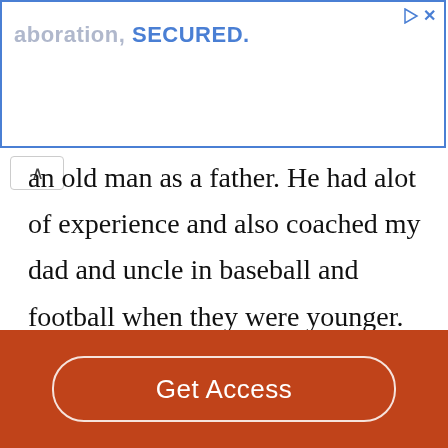[Figure (screenshot): Advertisement banner with blue border showing partial text 'aboration, SECURED.' with play and close icons]
an old man as a father. He had alot of experience and also coached my dad and uncle in baseball and football when they were younger. He worked in management his whole life and worked at many different places, and many different auto shops, and that makes a lot of sense because of the absolute love that he had for cars. He loved all kinds of cars and showed his love through all of
Get Access